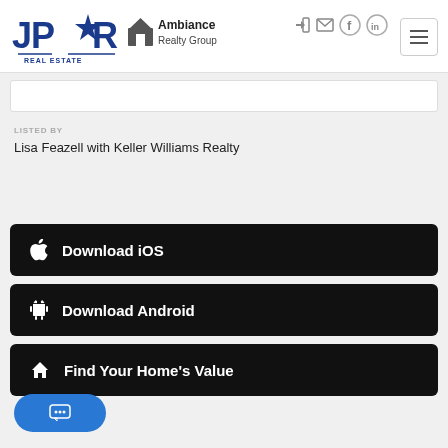[Figure (logo): JPAR Real Estate logo with star and text]
[Figure (logo): Ambiance Realty Group logo with house icon]
LISTED BY
Lisa Feazell with Keller Williams Realty
Download iOS
Download Android
Find Your Home's Value